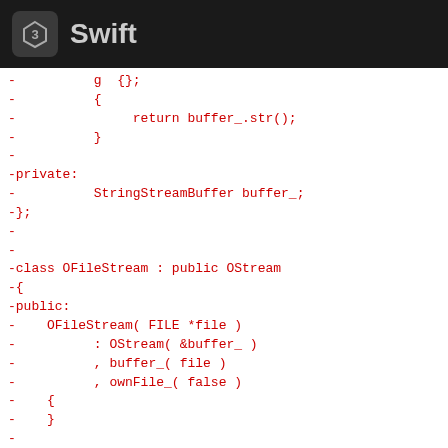Swift
Code diff showing C++ class definitions with OStringStream and OFileStream